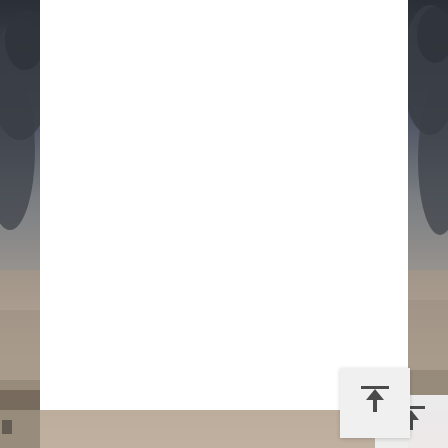[Figure (photo): Aerial or ground-level view of a flat industrial or airport tarmac area under a dramatic overcast sky with dark clouds. The scene is desaturated and moody. The photo appears on the left and right edges of the page, partially obscured by a large white rectangle in the center. In the lower-right area, a small button/icon with an upward arrow and a horizontal bar above it (a scroll-to-top UI element) is visible on a light grey background box.]